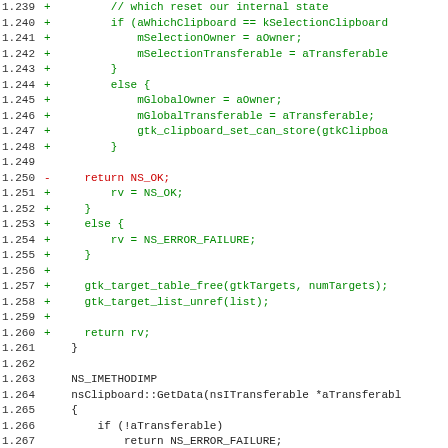[Figure (screenshot): Source code diff view showing lines 1.239 to 1.271 of a C++ file. Lines with '+' are additions in green, lines with '-' are deletions in red, diff hunk header in magenta, and neutral code in dark/black.]